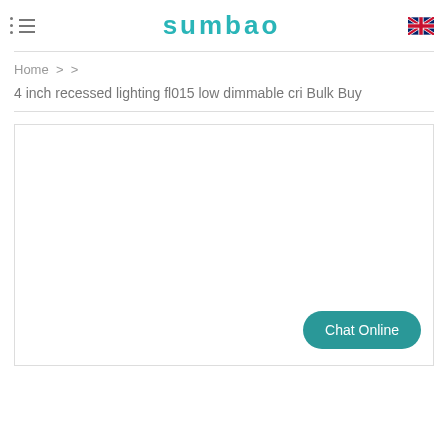SUMBAO
Home > >
4 inch recessed lighting fl015 low dimmable cri Bulk Buy
[Figure (screenshot): Empty white content area with Chat Online button in bottom right]
Chat Online